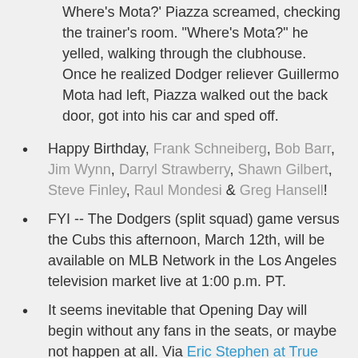Where's Mota?' Piazza screamed, checking the trainer's room. "Where's Mota?" he yelled, walking through the clubhouse. Once he realized Dodger reliever Guillermo Mota had left, Piazza walked out the back door, got into his car and sped off.
Happy Birthday, Frank Schneiberg, Bob Barr, Jim Wynn, Darryl Strawberry, Shawn Gilbert, Steve Finley, Raul Mondesi & Greg Hansell!
FYI -- The Dodgers (split squad) game versus the Cubs this afternoon, March 12th, will be available on MLB Network in the Los Angeles television market live at 1:00 p.m. PT.
It seems inevitable that Opening Day will begin without any fans in the seats, or maybe not happen at all. Via Eric Stephen at True Blue LA on twitter:
Watching a presser from the LA County